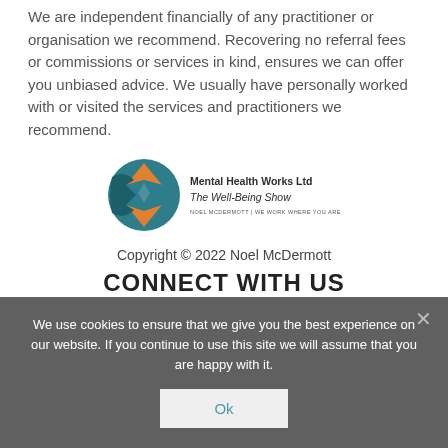We are independent financially of any practitioner or organisation we recommend. Recovering no referral fees or commissions or services in kind, ensures we can offer you unbiased advice. We usually have personally worked with or visited the services and practitioners we recommend.
[Figure (logo): Mental Health Works Ltd / The Well-Being Show logo with teal and orange compass/arrow emblem and text 'NOEL MCDERMOTT | WE WORK WHERE YOU ARE']
Copyright © 2022 Noel McDermott
CONNECT WITH US
We use cookies to ensure that we give you the best experience on our website. If you continue to use this site we will assume that you are happy with it.